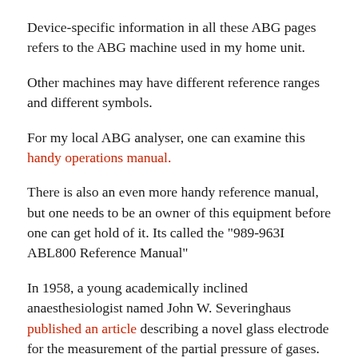Device-specific information in all these ABG pages refers to the ABG machine used in my home unit.
Other machines may have different reference ranges and different symbols.
For my local ABG analyser, one can examine this handy operations manual.
There is also an even more handy reference manual, but one needs to be an owner of this equipment before one can get hold of it. Its called the "989-963I ABL800 Reference Manual"
In 1958, a young academically inclined anaesthesiologist named John W. Severinghaus published an article describing a novel glass electrode for the measurement of the partial pressure of gases. The same man, now in the